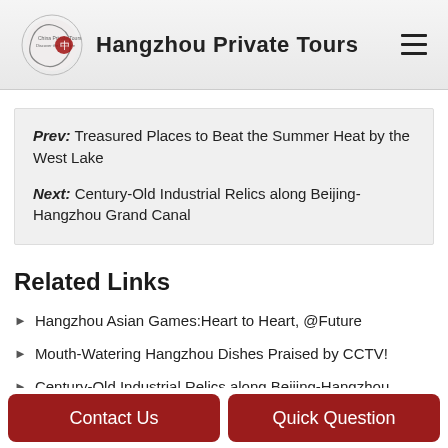Hangzhou Private Tours
Prev: Treasured Places to Beat the Summer Heat by the West Lake
Next: Century-Old Industrial Relics along Beijing-Hangzhou Grand Canal
Related Links
Hangzhou Asian Games:Heart to Heart, @Future
Mouth-Watering Hangzhou Dishes Praised by CCTV!
Century-Old Industrial Relics along Beijing-Hangzhou Grand Canal
Three Got the "Admission Ticket" of National 4A Scenic Area
The 1st "Hangzhou Liangzhu Day" Comes!
Contact Us | Quick Question